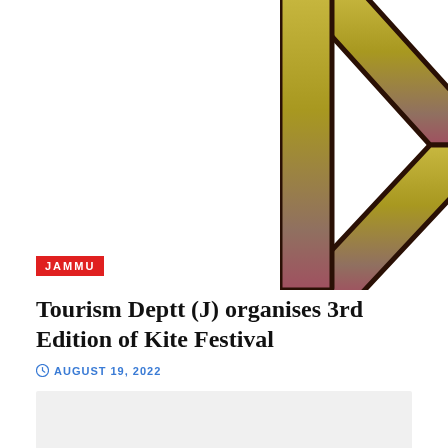[Figure (logo): Large stylized 'KH' or 'RH' logo letters with gold-to-pink gradient and dark brown outline, on white background]
JAMMU
Tourism Deptt (J) organises 3rd Edition of Kite Festival
AUGUST 19, 2022
[Figure (photo): Image placeholder area (light grey box)]